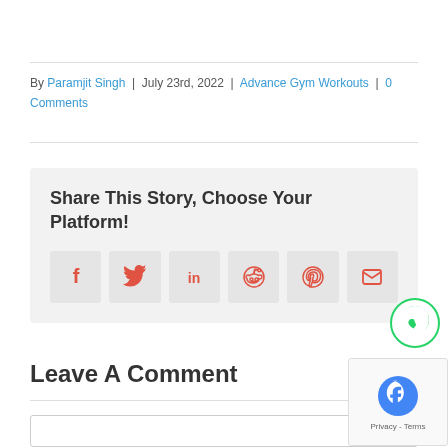By Paramjit Singh | July 23rd, 2022 | Advance Gym Workouts | 0 Comments
Share This Story, Choose Your Platform!
[Figure (infographic): Social share icons: Facebook, Twitter, LinkedIn, Reddit, Pinterest, Email]
[Figure (other): WhatsApp floating chat bubble icon]
Leave A Comment
[Figure (other): reCAPTCHA privacy badge with Privacy - Terms text]